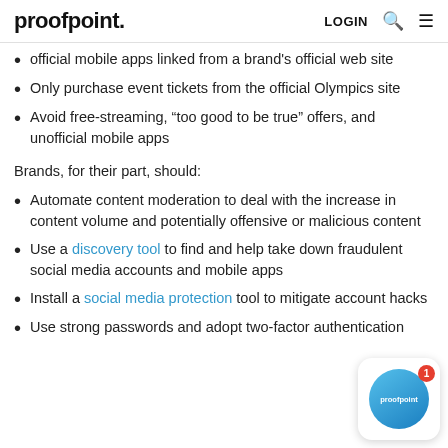proofpoint. LOGIN [search] [menu]
official mobile apps linked from a brand's official web site
Only purchase event tickets from the official Olympics site
Avoid free-streaming, “too good to be true” offers, and unofficial mobile apps
Brands, for their part, should:
Automate content moderation to deal with the increase in content volume and potentially offensive or malicious content
Use a discovery tool to find and help take down fraudulent social media accounts and mobile apps
Install a social media protection tool to mitigate account hacks
Use strong passwords and adopt two-factor authentication